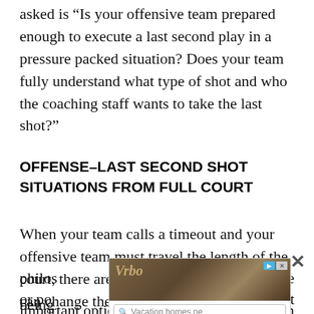asked is “Is your offensive team prepared enough to execute a last second play in a pressure packed situation? Does your team fully understand what type of shot and who the coaching staff wants to take the last shot?”
OFFENSE–LAST SECOND SHOT SITUATIONS FROM FULL COURT
When your team calls a timeout and your offensive team must travel the length of the court, there are two important factors that can change the philosophy. The first factor that may be or possibly change is not being important options that an offensive team can
[Figure (other): Advertisement overlay with vacation homes search box and Book Now button, partially obscuring body text]